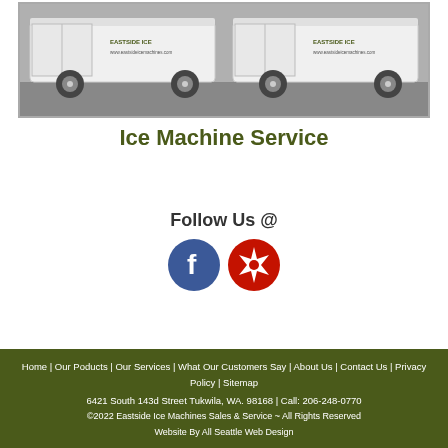[Figure (photo): Two white service vans viewed from rear quarter angle, with company branding and website URL on the side. Parked on asphalt.]
Ice Machine Service
Follow Us @
[Figure (logo): Facebook circular logo (blue with white 'f') and Yelp circular logo (red with white burst symbol), side by side.]
Home | Our Poducts | Our Services | What Our Customers Say | About Us | Contact Us | Privacy Policy | Sitemap
6421 South 143d Street Tukwila, WA. 98168 | Call: 206-248-0770
©2022 Eastside Ice Machines Sales & Service ~ All Rights Reserved
Website By All Seattle Web Design